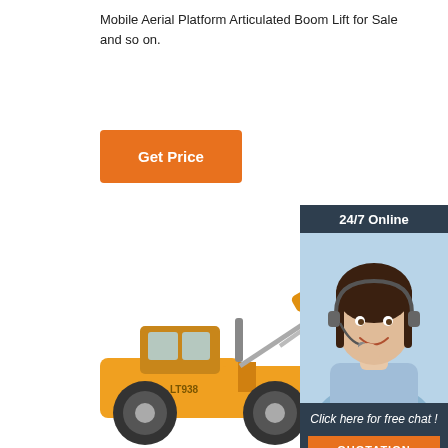Mobile Aerial Platform Articulated Boom Lift for Sale and so on.
[Figure (other): Orange 'Get Price' button]
[Figure (infographic): 24/7 Online chat widget with agent photo, 'Click here for free chat!' text and orange QUOTATION button]
[Figure (photo): Yellow construction excavator / wheel loader machinery photo]